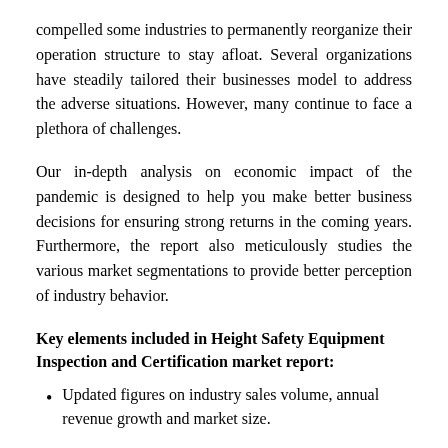compelled some industries to permanently reorganize their operation structure to stay afloat. Several organizations have steadily tailored their businesses model to address the adverse situations. However, many continue to face a plethora of challenges.
Our in-depth analysis on economic impact of the pandemic is designed to help you make better business decisions for ensuring strong returns in the coming years. Furthermore, the report also meticulously studies the various market segmentations to provide better perception of industry behavior.
Key elements included in Height Safety Equipment Inspection and Certification market report:
Updated figures on industry sales volume, annual revenue growth and market size.